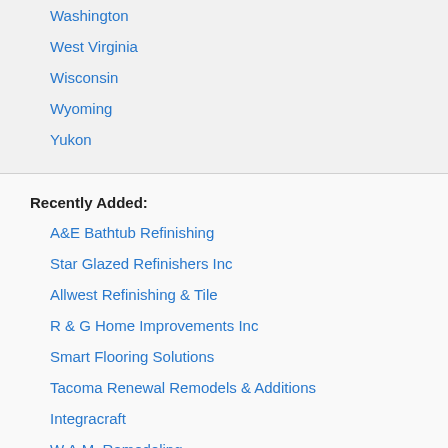Washington
West Virginia
Wisconsin
Wyoming
Yukon
Recently Added:
A&E Bathtub Refinishing
Star Glazed Refinishers Inc
Allwest Refinishing & Tile
R & G Home Improvements Inc
Smart Flooring Solutions
Tacoma Renewal Remodels & Additions
Integracraft
W.A.M. Remodeling
Two Poor Teachers Inc
The Virginia Bath Company
CKS Potable Water Services
Lowell Tile and Remodeling